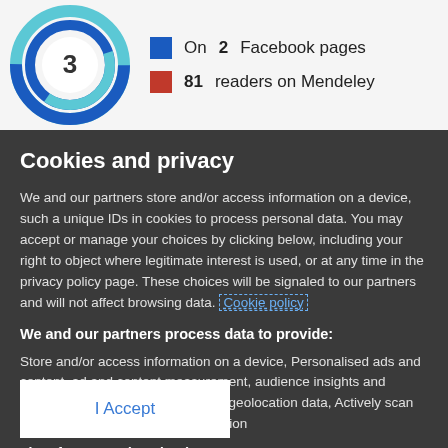[Figure (donut-chart): Donut chart showing the number 3 in the center, with blue and teal color segments]
On 2 Facebook pages
81 readers on Mendeley
Cookies and privacy
We and our partners store and/or access information on a device, such a unique IDs in cookies to process personal data. You may accept or manage your choices by clicking below, including your right to object where legitimate interest is used, or at any time in the privacy policy page. These choices will be signaled to our partners and will not affect browsing data. Cookie policy
We and our partners process data to provide:
Store and/or access information on a device, Personalised ads and content, ad and content measurement, audience insights and product development, Use precise geolocation data, Actively scan device characteristics for identification
List of Partners (vendors)
I Accept